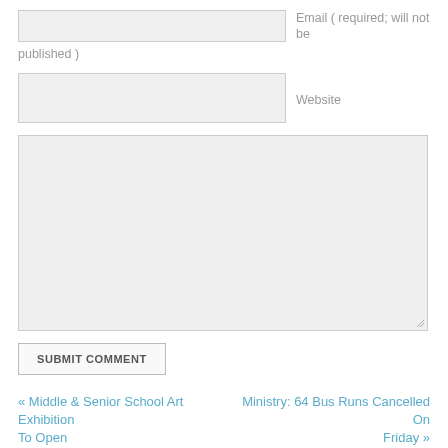Email ( required; will not be published )
Website
SUBMIT COMMENT
« Middle & Senior School Art Exhibition To Open
Ministry: 64 Bus Runs Cancelled On Friday »
[Figure (other): Advertisement banner with purple and teal design showing 'One' text]